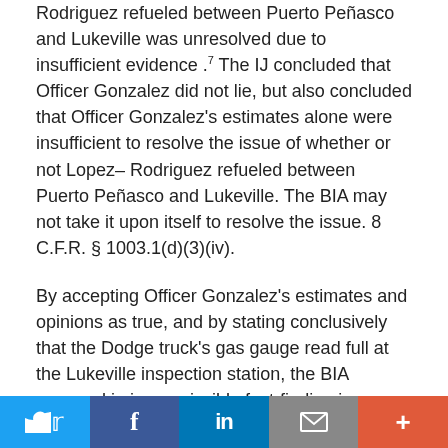Rodriguez refueled between Puerto Peñasco and Lukeville was unresolved due to insufficient evidence.⁷ The IJ concluded that Officer Gonzalez did not lie, but also concluded that Officer Gonzalez's estimates alone were insufficient to resolve the issue of whether or not Lopez–Rodriguez refueled between Puerto Peñasco and Lukeville. The BIA may not take it upon itself to resolve the issue. 8 C.F.R. § 1003.1(d)(3)(iv).
By accepting Officer Gonzalez's estimates and opinions as true, and by stating conclusively that the Dodge truck's gas gauge read full at the Lukeville inspection station, the BIA engaged in impermissible fact-finding in violation of 8 C.F.R. § 1003.1(d)(3)(iv). As noted above, these issues were left unresolved by the IJ, as was the issue of whether the gas gauge accurately reflected the true quantity of gas in the tank. If the BIA wanted specific factual findings on these
Twitter | Facebook | LinkedIn | Email | More